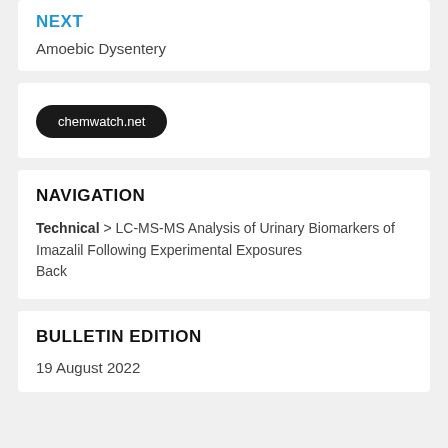NEXT
Amoebic Dysentery
[Figure (other): chemwatch.net button/badge]
NAVIGATION
Technical > LC-MS-MS Analysis of Urinary Biomarkers of Imazalil Following Experimental Exposures
Back
BULLETIN EDITION
19 August 2022